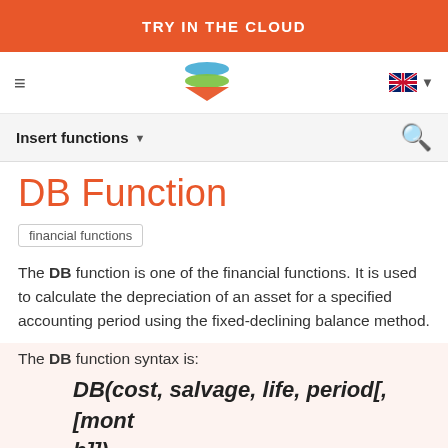TRY IN THE CLOUD
[Figure (logo): Stack of colored layers logo (blue, green, orange)]
Insert functions
DB Function
financial functions
The DB function is one of the financial functions. It is used to calculate the depreciation of an asset for a specified accounting period using the fixed-declining balance method.
The DB function syntax is: